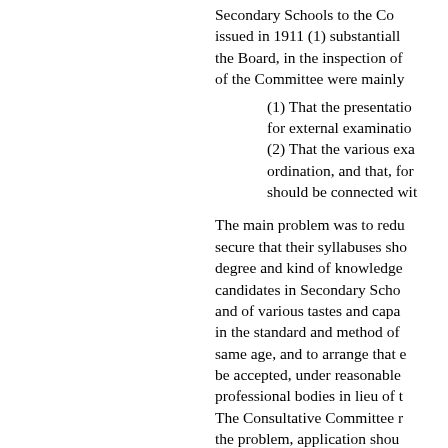Secondary Schools to the Co... issued in 1911 (1) substantially the Board, in the inspection of of the Committee were mainly
(1) That the presentation for external examination
(2) That the various exa ordination, and that, for should be connected wit
The main problem was to redu secure that their syllabuses sho degree and kind of knowledge candidates in Secondary Scho and of various tastes and capa in the standard and method of same age, and to arrange that e be accepted, under reasonable professional bodies in lieu of t The Consultative Committee r the problem, application shou Bodies. After prolonged negot consented to modify their exis the Board's suggestions, or to Exam examinations